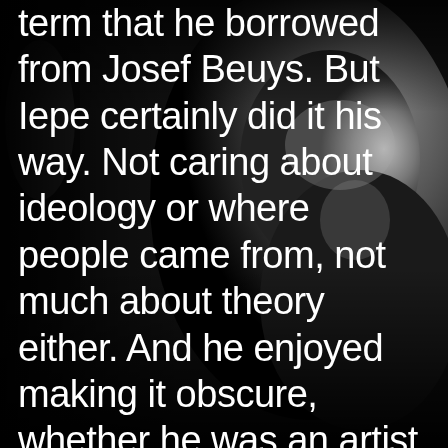[Figure (photo): Black and white photograph of a person leaning forward, appearing to be looking down closely at something, with blurred background figures visible]
term that he borrowed from Josef Beuys. But Iepe certainly did it his way. Not caring about ideology or where people came from, not much about theory either. And he enjoyed making it obscure, whether he was an artist, entertainer, sports